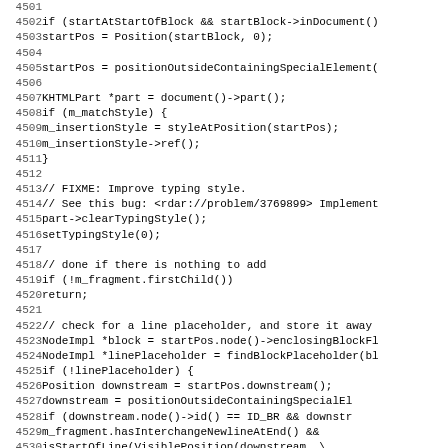[Figure (screenshot): Source code listing showing C++ code lines 4501-4532, with line numbers on the left and code content on the right in monospace font.]